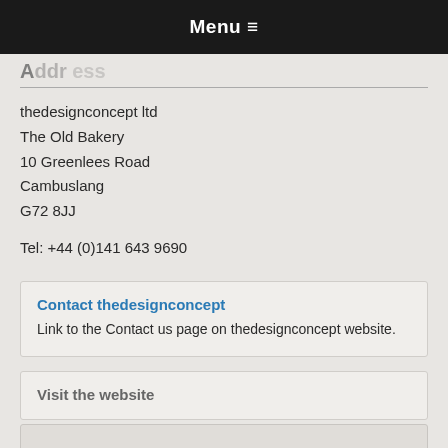Menu ≡
thedesignconcept ltd
The Old Bakery
10 Greenlees Road
Cambuslang
G72 8JJ

Tel: +44 (0)141 643 9690
Contact thedesignconcept
Link to the Contact us page on thedesignconcept website.
Visit the website